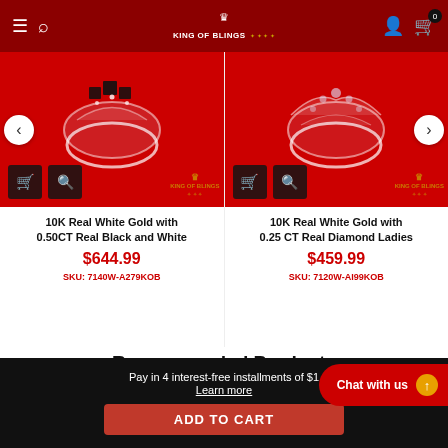King of Blings navigation bar
[Figure (photo): Product image of 10K Real White Gold with 0.50CT Real Black and White diamond ring on red background with King of Blings watermark]
10K Real White Gold with 0.50CT Real Black and White
$644.99
SKU: 7140W-A279KOB
[Figure (photo): Product image of 10K Real White Gold with 0.25 CT Real Diamond Ladies ring on red background with King of Blings watermark]
10K Real White Gold with 0.25 CT Real Diamond Ladies
$459.99
SKU: 7120W-AI99KOB
Recommended Products
Pay in 4 interest-free installments of $1
Learn more
Chat with us
ADD TO CART